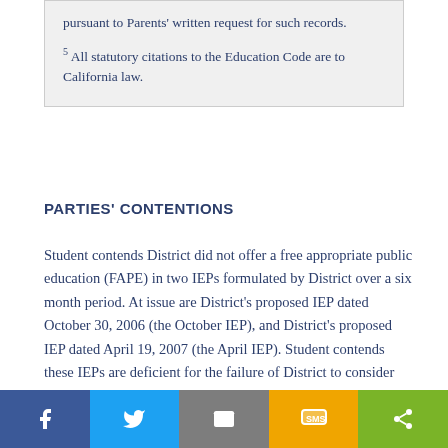pursuant to Parents' written request for such records.
5 All statutory citations to the Education Code are to California law.
PARTIES' CONTENTIONS
Student contends District did not offer a free appropriate public education (FAPE) in two IEPs formulated by District over a six month period. At issue are District's proposed IEP dated October 30, 2006 (the October IEP), and District's proposed IEP dated April 19, 2007 (the April IEP). Student contends these IEPs are deficient for the failure of District to consider Student's unique needs in the